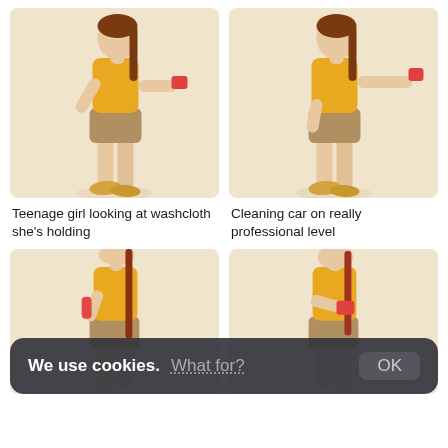[Figure (photo): Teenage girl in yellow tank top and khaki shorts, standing sideways, looking at a red washcloth she is holding in her outstretched hand. Beige background.]
[Figure (photo): Teenage girl in yellow tank top and khaki shorts, standing and extending her arm outward holding a red cloth, as if cleaning a car. Beige background.]
Teenage girl looking at washcloth she's holding
Cleaning car on really professional level
[Figure (photo): Teenage girl with long braided hair in yellow tank top, holding a red spray bottle, viewed from behind/side. Beige background.]
[Figure (photo): Teenage girl with long red hair in yellow tank top, looking down at a red cloth she is holding. Beige background.]
We use cookies. What for? OK